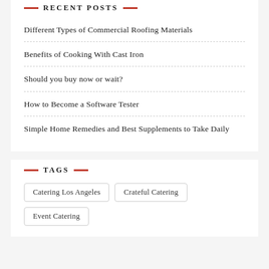RECENT POSTS
Different Types of Commercial Roofing Materials
Benefits of Cooking With Cast Iron
Should you buy now or wait?
How to Become a Software Tester
Simple Home Remedies and Best Supplements to Take Daily
TAGS
Catering Los Angeles
Crateful Catering
Event Catering